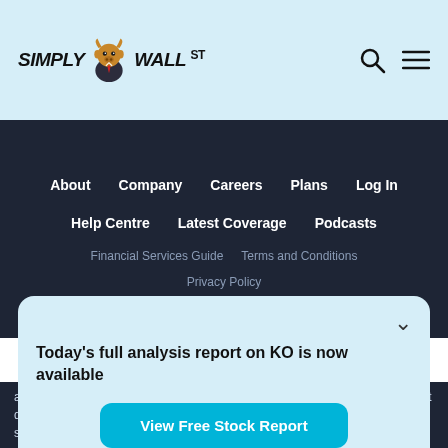Simply Wall St - navigation header with logo, search and menu icons
About
Company
Careers
Plans
Log In
Help Centre
Latest Coverage
Podcasts
Financial Services Guide
Terms and Conditions
Privacy Policy
Today's full analysis report on KO is now available
View Free Stock Report
and/or information contained in this website and before making any investment decision we recommend that you consider whether it is appropriate for your situation and seek